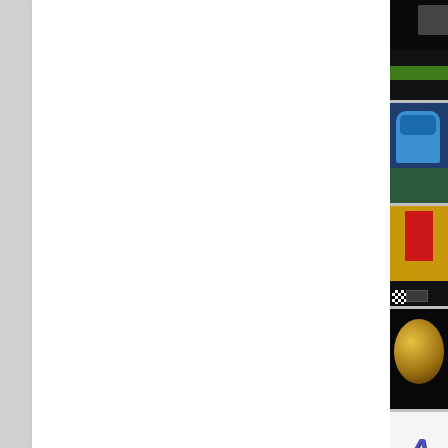[Figure (screenshot): Website or application layout showing a white content area on the left spanning most of the page width, a vertical divider, and a right-side thumbnail strip with multiple game/racing-related thumbnail images and a logo]
[Figure (illustration): Thumbnail 1: Dark background with green element, possibly a racing game screenshot]
[Figure (illustration): Thumbnail 2: Blue and teal masked face or helmet illustration]
[Figure (illustration): Thumbnail 3: Yellow and red racing figure with dark bottom strip and checkerboard element]
[Figure (illustration): Thumbnail 4: Dark background with golden circular/trophy shape]
[Figure (logo): Logo image showing stylized italic letter A in blue/purple with 'RA' text below in bold]
[Figure (photo): Partial dark/grey thumbnail at bottom]